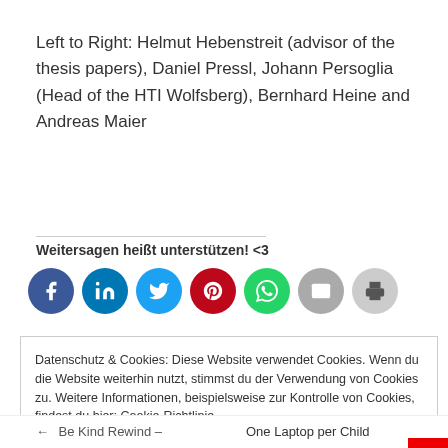Left to Right: Helmut Hebenstreit (advisor of the thesis papers), Daniel Pressl, Johann Persoglia (Head of the HTI Wolfsberg), Bernhard Heine and Andreas Maier
Weitersagen heißt unterstützen! <3
[Figure (infographic): Row of social media share icons: Facebook (blue), LinkedIn (dark blue), Twitter (light blue), Pinterest (red), WhatsApp (green), Email (gray), Print (light gray)]
Datenschutz & Cookies: Diese Website verwendet Cookies. Wenn du die Website weiterhin nutzt, stimmst du der Verwendung von Cookies zu. Weitere Informationen, beispielsweise zur Kontrolle von Cookies, findest du hier: Cookie-Richtlinie
Schließen und akzeptieren
← Be Kind Rewind –   One Laptop per Child